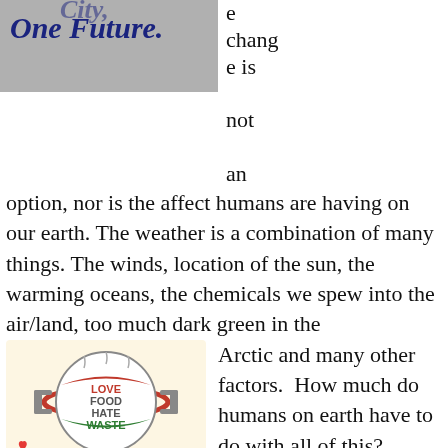[Figure (photo): Photo of text on gray background reading 'One Future.' in dark blue italic serif font]
change is not an option, nor is the affect humans are having on our earth. The weather is a combination of many things. The winds, location of the sun, the warming oceans, the chemicals we spew into the air/land, too much dark green in the Arctic and many other factors. How much do humans on earth have to do with all of this?
[Figure (infographic): Infographic with cream background showing 'Love Food Hate Waste' logo with a red and green circular emblem and 'Reduce Food Waste' text with icons at the bottom]
Somehow we need to put things into balance. When we make purchases